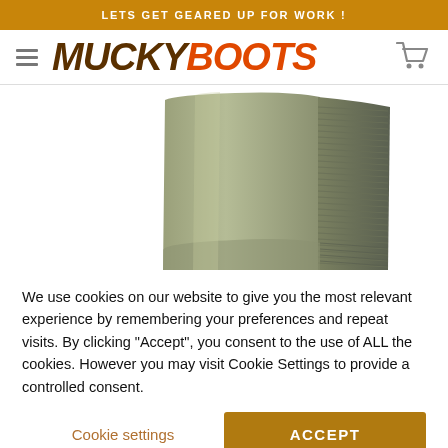LETS GET GEARED UP FOR WORK !
MUCKY BOOTS
[Figure (photo): Close-up photo of the upper portion of an olive/khaki green rubber Wellington boot showing textured tread pattern on the side]
We use cookies on our website to give you the most relevant experience by remembering your preferences and repeat visits. By clicking “Accept”, you consent to the use of ALL the cookies. However you may visit Cookie Settings to provide a controlled consent.
Cookie settings
ACCEPT